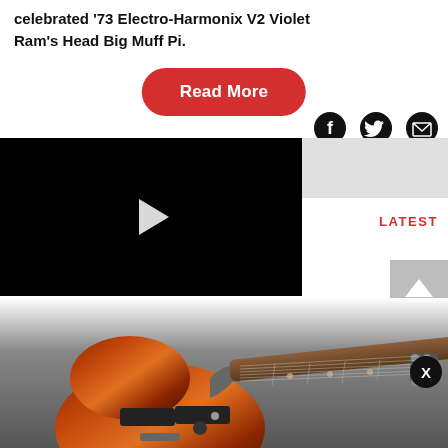celebrated '73 Electro-Harmonix V2 Violet Ram's Head Big Muff Pi.
[Figure (other): Red rounded 'Read More' button]
[Figure (other): Social sharing icons: Facebook, Twitter, Email]
[Figure (other): Video thumbnail of a guitar pedal on black background with play button]
LATEST
[Figure (other): Scroll-up arrow button (gray background, white chevron)]
[Figure (photo): Electric guitar with sunburst finish (brown/red/orange), shown on gray background — partially cropped at bottom]
[Figure (other): Close X button (black circle)]